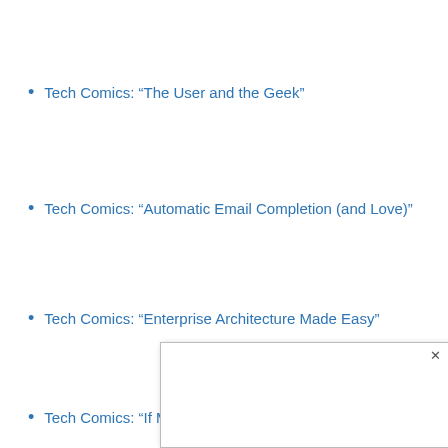Tech Comics: “The User and the Geek”
Tech Comics: “Automatic Email Completion (and Love)”
Tech Comics: “Enterprise Architecture Made Easy”
Tech Comics: “If Microsoft Had Developed Twitter”